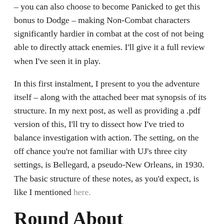– you can also choose to become Panicked to get this bonus to Dodge – making Non-Combat characters significantly hardier in combat at the cost of not being able to directly attack enemies. I'll give it a full review when I've seen it in play.
In this first instalment, I present to you the adventure itself – along with the attached beer mat synopsis of its structure. In my next post, as well as providing a .pdf version of this, I'll try to dissect how I've tried to balance investigation with action. The setting, on the off chance you're not familiar with UJ's three city settings, is Bellegard, a pseudo-New Orleans, in 1930. The basic structure of these notes, as you'd expect, is like I mentioned here.
Round About